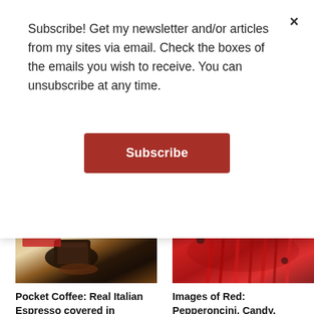Subscribe! Get my newsletter and/or articles from my sites via email. Check the boxes of the emails you wish to receive. You can unsubscribe at any time.
Subscribe
[Figure (photo): Close-up photo of Pocket Coffee chocolate on a white surface with brown liquid]
[Figure (photo): Photo of red pepperoncini peppers hanging in bundles]
Pocket Coffee: Real Italian Espresso covered in Chocolate (Giveaway!)
April 30, 2009
In "Chocolate"
Images of Red: Pepperoncini, Candy, Sunsets
December 9, 2006
In "Italy"
Desserts and Sweets Recipes – 101 American Foods to Try in the USA
Living in another country, I